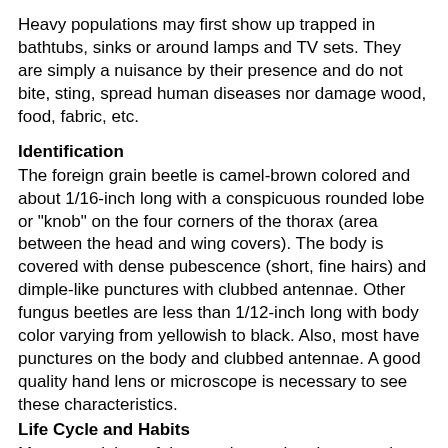Heavy populations may first show up trapped in bathtubs, sinks or around lamps and TV sets. They are simply a nuisance by their presence and do not bite, sting, spread human diseases nor damage wood, food, fabric, etc.
Identification
The foreign grain beetle is camel-brown colored and about 1/16-inch long with a conspicuous rounded lobe or "knob" on the four corners of the thorax (area between the head and wing covers). The body is covered with dense pubescence (short, fine hairs) and dimple-like punctures with clubbed antennae. Other fungus beetles are less than 1/12-inch long with body color varying from yellowish to black. Also, most have punctures on the body and clubbed antennae. A good quality hand lens or microscope is necessary to see these characteristics.
Life Cycle and Habits
Most complaints of these nuisance beetles occur in late July, August, and September. Beetles often become quite abundant, especially after a period of rainy weather. However, development from egg to adult depends on temperature. Some beetles complete their life cycle in 25 to